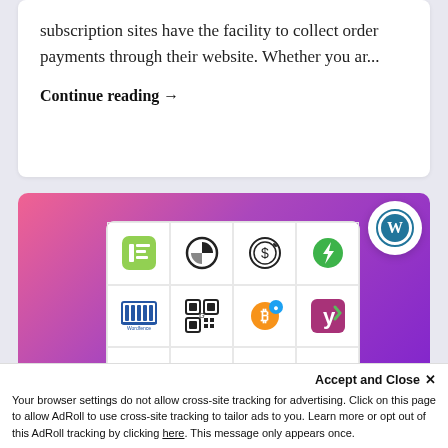subscription sites have the facility to collect order payments through their website. Whether you ar...
Continue reading →
[Figure (screenshot): Banner with gradient pink-to-purple background containing a white grid panel with app/plugin icons (Elementor, chart icon, dollar sign icon, lightning bolt icon, Wordfence, QR code icon, Bitcoin icon, Yoast icon, and another red icon partially visible). WordPress logo badge in top right corner of banner.]
Accept and Close ✕
Your browser settings do not allow cross-site tracking for advertising. Click on this page to allow AdRoll to use cross-site tracking to tailor ads to you. Learn more or opt out of this AdRoll tracking by clicking here. This message only appears once.